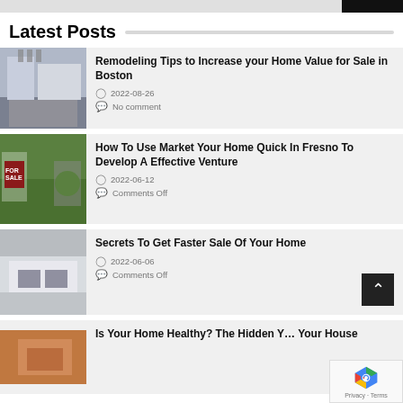Latest Posts
Remodeling Tips to Increase your Home Value for Sale in Boston | 2022-08-26 | No comment
How To Use Market Your Home Quick In Fresno To Develop A Effective Venture | 2022-06-12 | Comments Off
Secrets To Get Faster Sale Of Your Home | 2022-06-06 | Comments Off
Is Your Home Healthy? The Hidden [Your House]